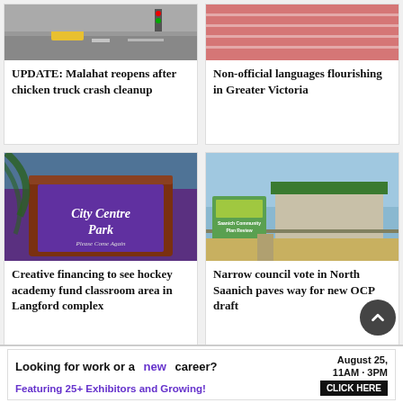[Figure (photo): Road with yellow truck and traffic lights]
UPDATE: Malahat reopens after chicken truck crash cleanup
[Figure (photo): Running track lanes in pink/salmon tones]
Non-official languages flourishing in Greater Victoria
[Figure (photo): City Centre Park sign with purple background and trees]
Creative financing to see hockey academy fund classroom area in Langford complex
[Figure (photo): North Saanich OCP draft sign in front of a green-roofed building]
Narrow council vote in North Saanich paves way for new OCP draft
Looking for work or a new career? August 25, 11AM - 3PM Featuring 25+ Exhibitors and Growing! CLICK HERE